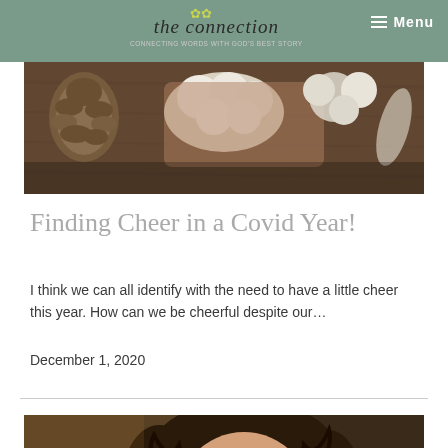the connection — Menu
[Figure (photo): Holiday flat lay with pine cone, cotton flowers, and decorative items on wooden surface]
Finding Cheer in a Covid Year!
I think we can all identify with the need to have a little cheer this year.  How can we be cheerful despite our…
December 1, 2020
[Figure (photo): Woman with hands clasped in prayer position near her face, wearing hoop earrings, eyes closed]